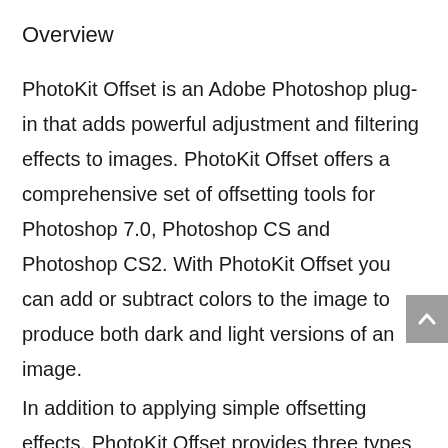Overview
PhotoKit Offset is an Adobe Photoshop plug-in that adds powerful adjustment and filtering effects to images. PhotoKit Offset offers a comprehensive set of offsetting tools for Photoshop 7.0, Photoshop CS and Photoshop CS2. With PhotoKit Offset you can add or subtract colors to the image to produce both dark and light versions of an image.
In addition to applying simple offsetting effects, PhotoKit Offset provides three types of creative tools. For example, you